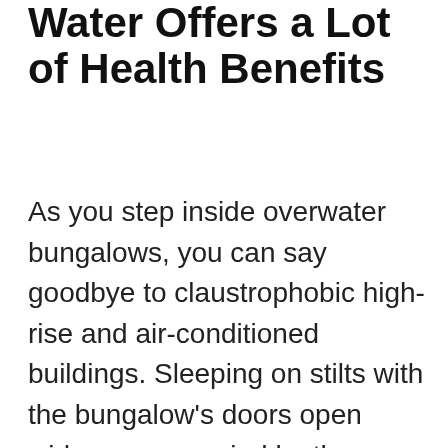Water Offers a Lot of Health Benefits
As you step inside overwater bungalows, you can say goodbye to claustrophobic high-rise and air-conditioned buildings. Sleeping on stilts with the bungalow's doors open wide, accompanied by the constant sound of rushing water, will make you and your partner feel years younger and healthy.